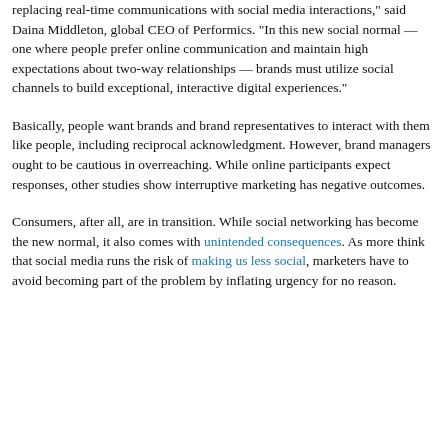replacing real-time communications with social media interactions," said Daina Middleton, global CEO of Performics. "In this new social normal — one where people prefer online communication and maintain high expectations about two-way relationships — brands must utilize social channels to build exceptional, interactive digital experiences."
Basically, people want brands and brand representatives to interact with them like people, including reciprocal acknowledgment. However, brand managers ought to be cautious in overreaching. While online participants expect responses, other studies show interruptive marketing has negative outcomes.
Consumers, after all, are in transition. While social networking has become the new normal, it also comes with unintended consequences. As more think that social media runs the risk of making us less social, marketers have to avoid becoming part of the problem by inflating urgency for no reason.